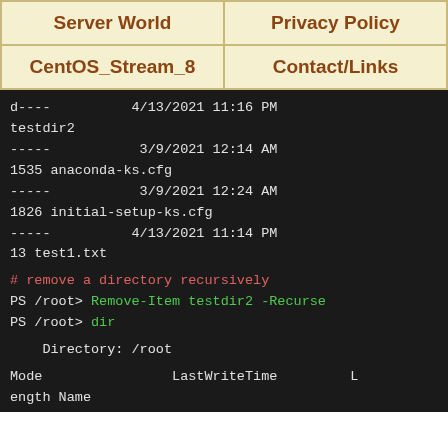| Server World | Privacy Policy |
| --- | --- |
| CentOS_Stream_8 | Contact/Links |
d----          4/13/2021 11:16 PM
testdir2
-----           3/9/2021 12:14 AM
1535 anaconda-ks.cfg
-----           3/9/2021 12:24 AM
1826 initial-setup-ks.cfg
-----          4/13/2021 11:14 PM
13 test1.txt

# remove a directory recursively
PS /root> Remove-Item testdir2 -Recurse
PS /root> dir

    Directory: /root

Mode                LastWriteTime         L
ength Name
----                -------------         -
----- ----